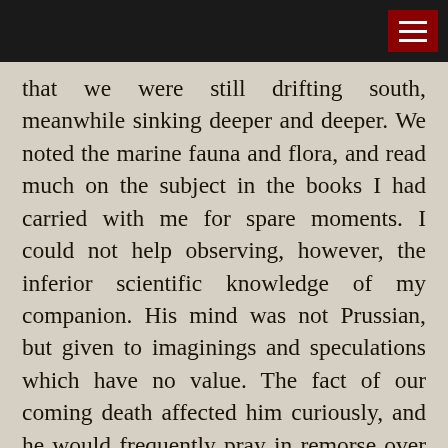that we were still drifting south, meanwhile sinking deeper and deeper. We noted the marine fauna and flora, and read much on the subject in the books I had carried with me for spare moments. I could not help observing, however, the inferior scientific knowledge of my companion. His mind was not Prussian, but given to imaginings and speculations which have no value. The fact of our coming death affected him curiously, and he would frequently pray in remorse over the men, women, and children we had sent to the bottom; forgetting that all things are noble which serve the German state. After a time he became noticeably unbalanced, gazing for hours at his ivory image and weaving fanciful stories of the lost and forgotten things under the sea. Sometimes, as a psychological experiment, I would lead him on in the wanderings, and listen to his